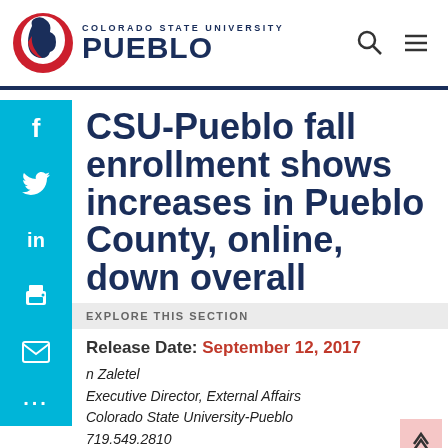[Figure (logo): Colorado State University Pueblo logo with ThunderWolf mascot and text]
CSU-Pueblo fall enrollment shows increases in Pueblo County, online, down overall
EXPLORE THIS SECTION
Release Date: September 12, 2017
n Zaletel
Executive Director, External Affairs
Colorado State University-Pueblo
719.549.2810
CSU-Pueblo fall enrollment shows increases in Pueblo County, online,